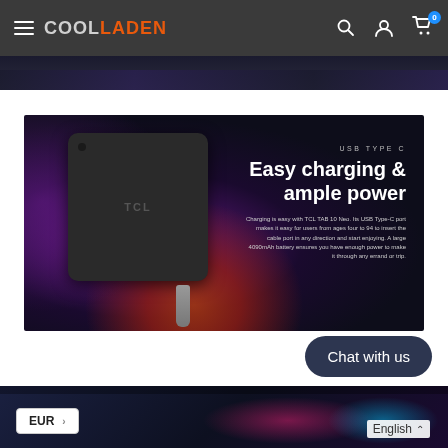COOLLADEN
[Figure (photo): TCL TAB 10 Neo tablet shown from the back with USB-C cable, on a dark background with purple and red/orange gradient lighting. Text overlay: 'USB TYPE C / Easy charging & ample power'. Description text about USB Type-C port and 4090mAh battery.]
[Figure (photo): Partial view of another product image at the bottom of the page with colorful gradient (red/pink/cyan) background.]
Chat with us
EUR
English